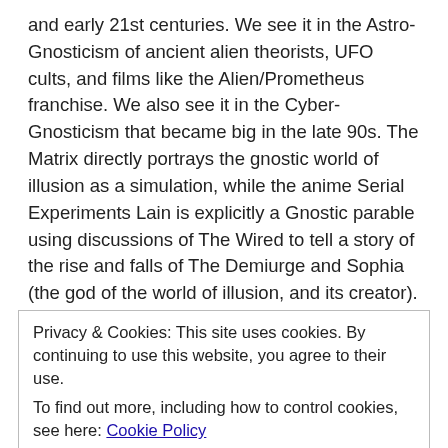and early 21st centuries. We see it in the Astro-Gnosticism of ancient alien theorists, UFO cults, and films like the Alien/Prometheus franchise. We also see it in the Cyber-Gnosticism that became big in the late 90s. The Matrix directly portrays the gnostic world of illusion as a simulation, while the anime Serial Experiments Lain is explicitly a Gnostic parable using discussions of The Wired to tell a story of the rise and falls of The Demiurge and Sophia (the god of the world of illusion, and its creator). Neon Genesis Evangelion, Ghost in the Shell, most of Grant Morrison's work, Philip K. Dick's work (especially The Valis Trilogy), John Carpenter's They Live, and Silent Hill are just a few media examples of Gnosticism in pop culture. It seems as though the rise in
Privacy & Cookies: This site uses cookies. By continuing to use this website, you agree to their use.
To find out more, including how to control cookies, see here: Cookie Policy
problems caused by postmodernism. Postmodernism